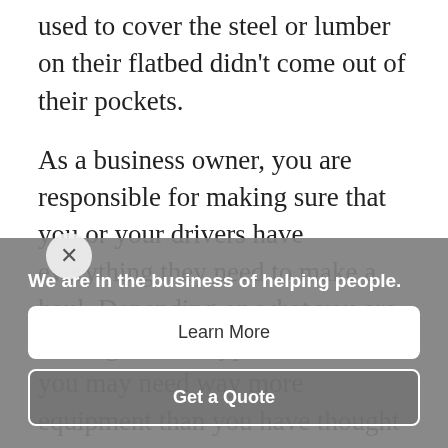used to cover the steel or lumber on their flatbed didn't come out of their pockets.
As a business owner, you are responsible for making sure that you or your drivers have everything they need to make a haul. Depending on what you are hauling and the type of trailer, you may need way more equipment than you have thought about...and the costs may surprise you if you've never had to buy your own
We are in the business of helping people.
Learn More
Get a Quote